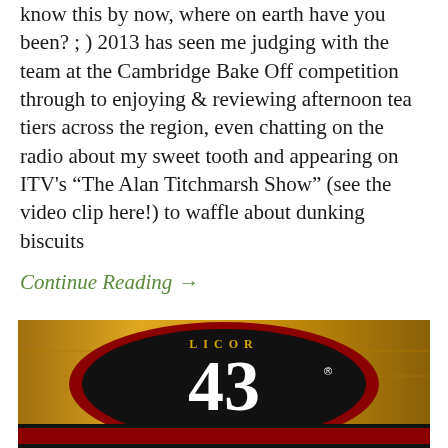know this by now, where on earth have you been? ; ) 2013 has seen me judging with the team at the Cambridge Bake Off competition through to enjoying & reviewing afternoon tea tiers across the region, even chatting on the radio about my sweet tooth and appearing on ITV's “The Alan Titchmarsh Show” (see the video clip here!) to waffle about dunking biscuits
Continue Reading →
[Figure (photo): Close-up photo of a Licor 43 bottle label showing the number 43 in white on a dark red and black circular label with gold bottle background]